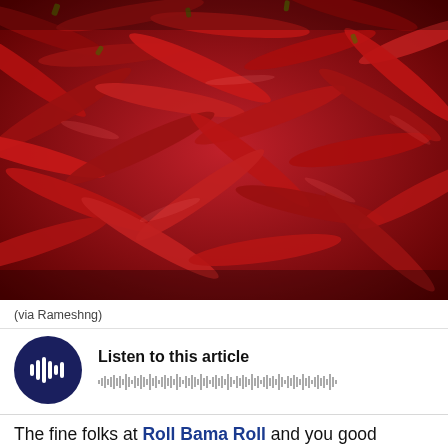[Figure (photo): Close-up photo of a large pile of dried red chili peppers filling the entire frame]
(via Rameshng)
[Figure (other): Audio player widget with circular dark navy play button showing waveform/speaker icon, title 'Listen to this article', and a waveform visualization bar]
The fine folks at Roll Bama Roll and you good people are never going to agree on who will win Saturday's